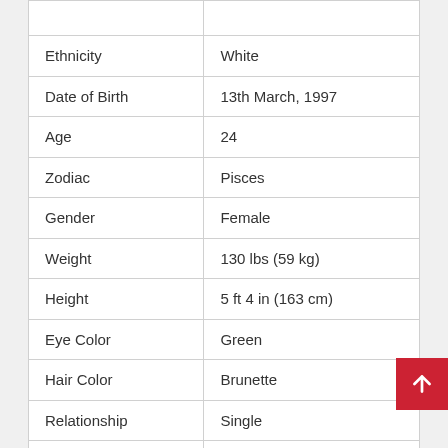| Attribute | Value |
| --- | --- |
| Ethnicity | White |
| Date of Birth | 13th March, 1997 |
| Age | 24 |
| Zodiac | Pisces |
| Gender | Female |
| Weight | 130 lbs (59 kg) |
| Height | 5 ft 4 in (163 cm) |
| Eye Color | Green |
| Hair Color | Brunette |
| Relationship | Single |
| Measurement | 32B-26-40 |